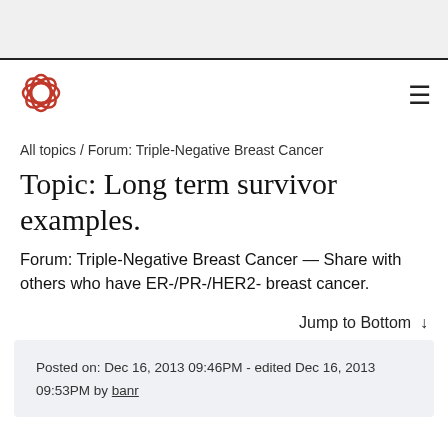[Figure (logo): Red circular floral/petal logo mark]
All topics / Forum: Triple-Negative Breast Cancer
Topic: Long term survivor examples.
Forum: Triple-Negative Breast Cancer — Share with others who have ER-/PR-/HER2- breast cancer.
Jump to Bottom ↓
Posted on: Dec 16, 2013 09:46PM - edited Dec 16, 2013 09:53PM by banr